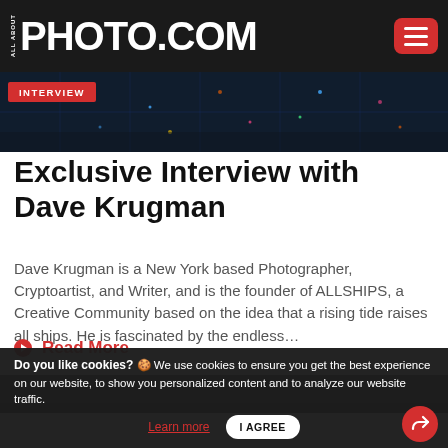ALL ABOUT PHOTO.COM
[Figure (photo): Aerial night photo of a city with neon lights, used as hero banner for the interview article. Has a red 'INTERVIEW' badge overlay.]
Exclusive Interview with Dave Krugman
Dave Krugman is a New York based Photographer, Cryptoartist, and Writer, and is the founder of ALLSHIPS, a Creative Community based on the idea that a rising tide raises all ships. He is fascinated by the endless…
Read More
[Figure (photo): Black and white photo strip, partially visible at the bottom of the page.]
Do you like cookies? 🍪 We use cookies to ensure you get the best experience on our website, to show you personalized content and to analyze our website traffic. Learn more  I AGREE